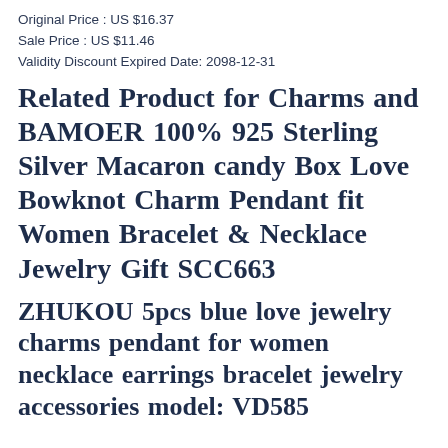Original Price : US $16.37
Sale Price : US $11.46
Validity Discount Expired Date: 2098-12-31
Related Product for Charms and BAMOER 100% 925 Sterling Silver Macaron candy Box Love Bowknot Charm Pendant fit Women Bracelet & Necklace Jewelry Gift SCC663
ZHUKOU 5pcs blue love jewelry charms pendant for women necklace earrings bracelet jewelry accessories model: VD585